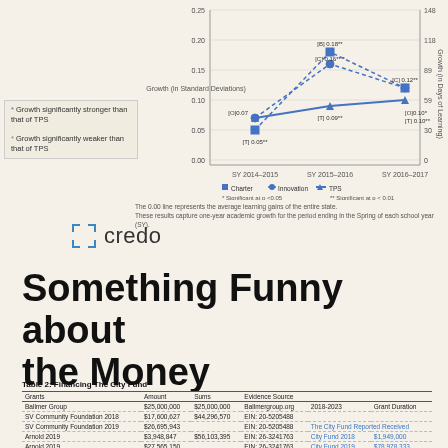[Figure (line-chart): Growth in Standard Deviations / Days of Learning by School Year]
* Growth significantly stronger than that of TPS
* Growth significantly weaker than that of TPS
The 0.00 line represents the average learning gains of the entire state.
These results capture one-year academic growth for the period ending in the Spring of each school year (SY).
[Figure (logo): Credo logo with bracket icon and text 'credo']
Something Funny about the Money
Table 2: Financing The City Fund
| Grants | Amount | Sums | Evidence Source |  |  |
| --- | --- | --- | --- | --- | --- |
| Ballmer Group | $25,000,000 | $25,000,000 | Ballmergroup.org | 2018-2023 | Grant Duration |
| SV Community Foundation 2018 | $17,600,627 | $44,296,570 | EIN: 20-5205488 |  |  |
| SV Community Foundation 2019 | $26,695,943 |  | EIN: 20-5205488 | The City Fund Reported Received |  |
| Arnold 2019 | $3,948,847 | $56,103,395 | EIN: 26-3241763 | City Fund 2018 | $1,949,000 |
| Arnold 2019 | $27,565,150 |  | EIN: 26-3241763 | City Fund 2019 | $78,978,333 |
| Arnold 2018 | $10,591,030 |  | EIN: 26-3241763 | Total = | $80,927,333 |
| Arnold 2018 | $13,998,368 |  | EIN: 26-3241763 |  |  |
| Gates 2018 | $1,222,171 | $21,449,090 | EIN: 56-2618866 | City Fund EIN: | 82-4928742 |